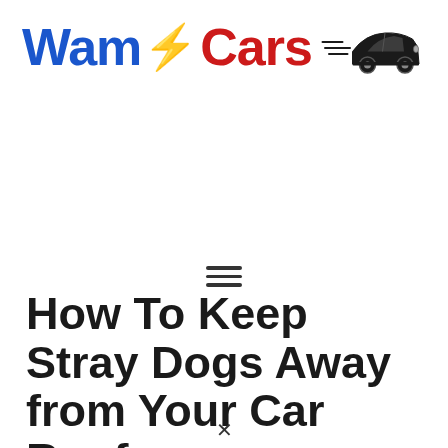[Figure (logo): WamCars logo with blue 'Wam', orange lightning bolt, red 'Cars' text and a black car silhouette illustration]
[Figure (other): Hamburger menu icon with three horizontal lines]
How To Keep Stray Dogs Away from Your Car Roof